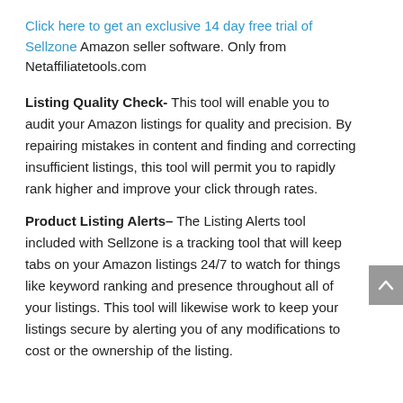Click here to get an exclusive 14 day free trial of Sellzone Amazon seller software. Only from Netaffiliatetools.com
Listing Quality Check- This tool will enable you to audit your Amazon listings for quality and precision. By repairing mistakes in content and finding and correcting insufficient listings, this tool will permit you to rapidly rank higher and improve your click through rates.
Product Listing Alerts– The Listing Alerts tool included with Sellzone is a tracking tool that will keep tabs on your Amazon listings 24/7 to watch for things like keyword ranking and presence throughout all of your listings. This tool will likewise work to keep your listings secure by alerting you of any modifications to cost or the ownership of the listing.